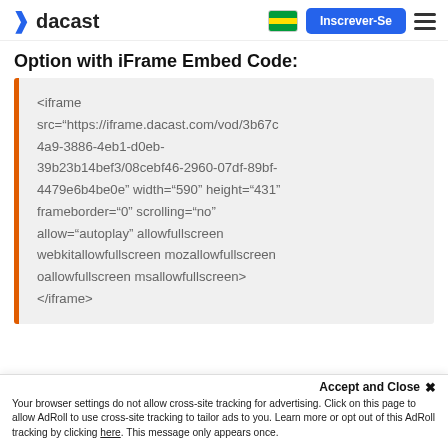dacast | Inscrever-Se
Option with iFrame Embed Code:
<iframe src="https://iframe.dacast.com/vod/3b67c4a9-3886-4eb1-d0eb-39b23b14bef3/08cebf46-2960-07df-89bf-4479e6b4be0e" width="590" height="431" frameborder="0" scrolling="no" allow="autoplay" allowfullscreen webkitallowfullscreen mozallowfullscreen oallowfullscreen msallowfullscreen>
</iframe>
Accept and Close ✕
Your browser settings do not allow cross-site tracking for advertising. Click on this page to allow AdRoll to use cross-site tracking to tailor ads to you. Learn more or opt out of this AdRoll tracking by clicking here. This message only appears once.